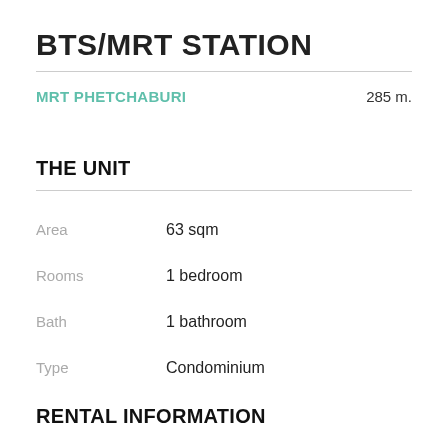BTS/MRT STATION
MRT PHETCHABURI    285 m.
THE UNIT
Area    63 sqm
Rooms    1 bedroom
Bath    1 bathroom
Type    Condominium
RENTAL INFORMATION